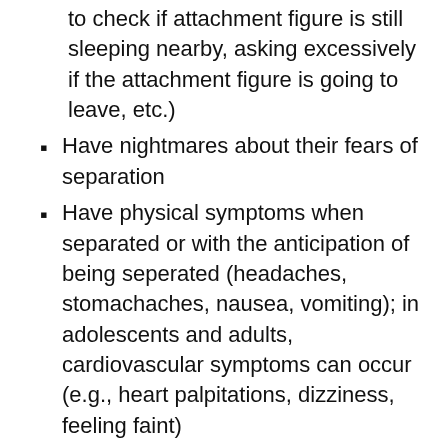to check if attachment figure is still sleeping nearby, asking excessively if the attachment figure is going to leave, etc.)
Have nightmares about their fears of separation
Have physical symptoms when separated or with the anticipation of being seperated (headaches, stomachaches, nausea, vomiting); in adolescents and adults, cardiovascular symptoms can occur (e.g., heart palpitations, dizziness, feeling faint)
CALL NOW FOR A FREE 30-MIN CONSULTATION ›
LOOKING FOR THE CHILD/ADOLESCENT PAGE? CLICK HERE ›
QUESTIONS? VIEW FAQS ›